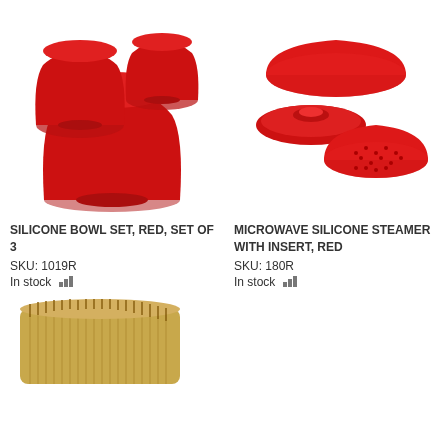[Figure (photo): Three red silicone bowls of different sizes stacked/arranged together, photographed on white background]
[Figure (photo): Red silicone microwave steamer set with lid and perforated insert, photographed on white background]
SILICONE BOWL SET, RED, SET OF 3
SKU: 1019R
In stock
MICROWAVE SILICONE STEAMER WITH INSERT, RED
SKU: 180R
In stock
[Figure (photo): Bamboo toothpicks or skewers bundled together, visible at bottom left corner]